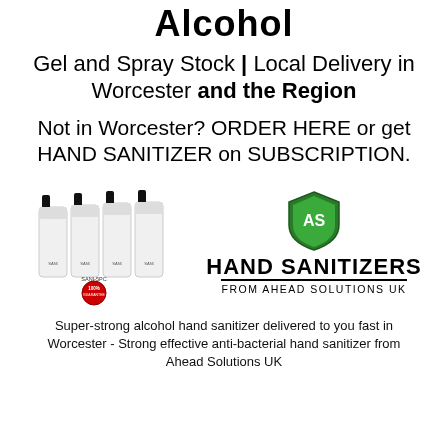Alcohol
Gel and Spray Stock | Local Delivery in Worcester and the Region
Not in Worcester? ORDER HERE or get HAND SANITIZER on SUBSCRIPTION.
[Figure (photo): Left: four small spray bottles of hand sanitizer with a 100% guarantee badge. Right: Ahead Solutions UK logo - green shield with 'AS' initials above bold text HAND SANITIZERS FROM AHEAD SOLUTIONS UK]
Super-strong alcohol hand sanitizer delivered to you fast in Worcester - Strong effective anti-bacterial hand sanitizer from Ahead Solutions UK